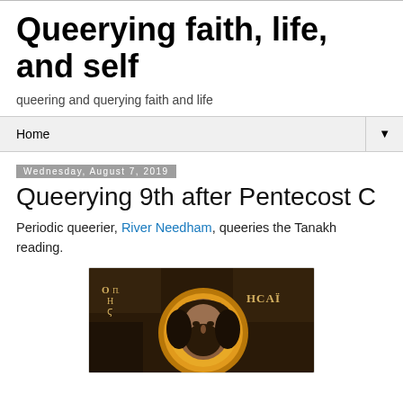Queerying faith, life, and self
queering and querying faith and life
Home
Wednesday, August 7, 2019
Queerying 9th after Pentecost C
Periodic queerier, River Needham, queeries the Tanakh reading.
[Figure (photo): Byzantine icon depicting a bearded saint with a golden halo, Greek text reading OIP H and HCAI on a dark background]